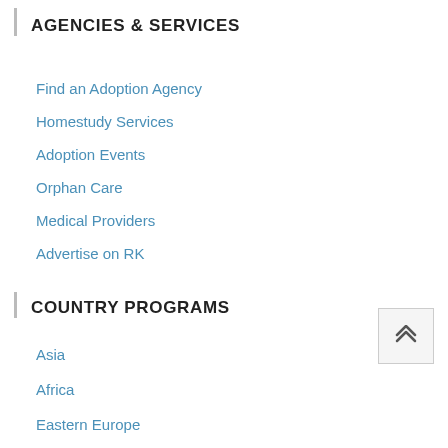AGENCIES & SERVICES
Find an Adoption Agency
Homestudy Services
Adoption Events
Orphan Care
Medical Providers
Advertise on RK
COUNTRY PROGRAMS
Asia
Africa
Eastern Europe